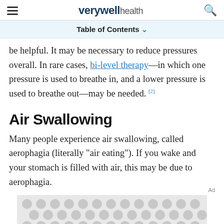verywell health
Table of Contents
be helpful. It may be necessary to reduce pressures overall. In rare cases, bi-level therapy—in which one pressure is used to breathe in, and a lower pressure is used to breathe out—may be needed. [2]
Air Swallowing
Many people experience air swallowing, called aerophagia (literally "air eating"). If you wake and your stomach is filled with air, this may be due to aerophagia.
[Figure (other): Advertisement placeholder with dotted/circular pattern background]